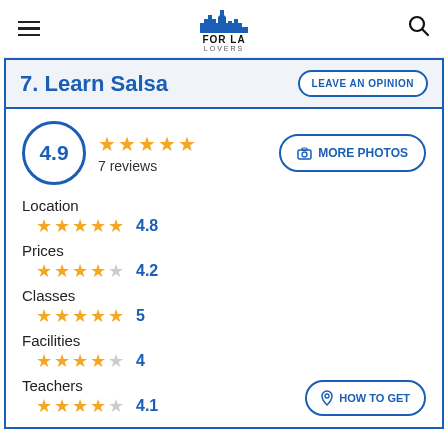FOR LA LOVERS
7. Learn Salsa
LEAVE AN OPINION
4.9 — 7 reviews — MORE PHOTOS
Location 4.8
Prices 4.2
Classes 5
Facilities 4
Teachers 4.1
HOW TO GET